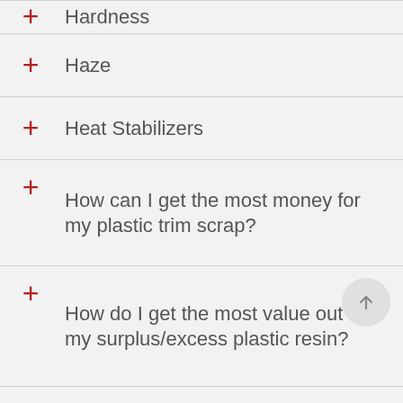Hardness
Haze
Heat Stabilizers
How can I get the most money for my plastic trim scrap?
How do I get the most value out of my surplus/excess plastic resin?
Impact Modifiers